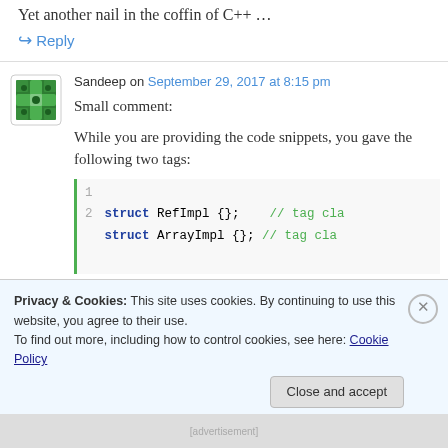Yet another nail in the coffin of C++ …
↪ Reply
Sandeep on September 29, 2017 at 8:15 pm
Small comment:
While you are providing the code snippets, you gave the following two tags:
[Figure (screenshot): Code block with two lines: 1: struct RefImpl {}; // tag cla   2: struct ArrayImpl {}; // tag cla]
Privacy & Cookies: This site uses cookies. By continuing to use this website, you agree to their use.
To find out more, including how to control cookies, see here: Cookie Policy
Close and accept